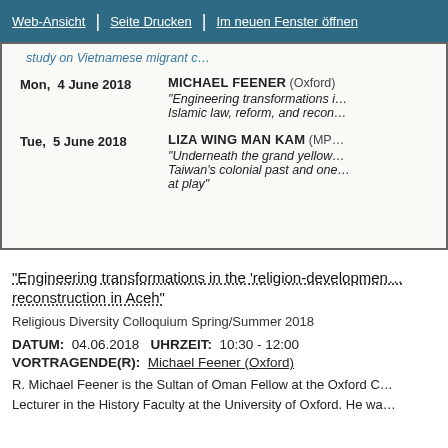Web-Ansicht | Seite Drucken | Im neuen Fenster öffnen
| Date | Speaker / Title |
| --- | --- |
|  | study on Vietnamese migrant c… |
| Mon,  4 June 2018 | MICHAEL FEENER (Oxford)
"Engineering transformations i… Islamic law, reform, and recon… |
| Tue,  5 June 2018 | LIZA WING MAN KAM (MP…
"Underneath the grand yellow… Taiwan's colonial past and one… at play" |
"Engineering transformations in the 'religion-development… reconstruction in Aceh"
Religious Diversity Colloquium Spring/Summer 2018
DATUM:  04.06.2018   UHRZEIT:  10:30 - 12:00
VORTRAGENDE(R):  Michael Feener (Oxford)
R. Michael Feener is the Sultan of Oman Fellow at the Oxford C…
Lecturer in the History Faculty at the University of Oxford. He wa…